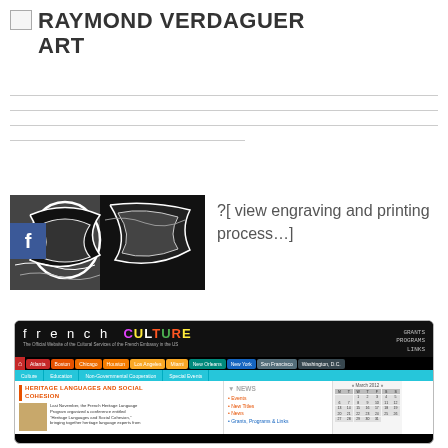RAYMOND VERDAGUER ART
[Figure (screenshot): Black and white engraving artwork image with Facebook badge overlay]
?[ view engraving and printing process…]
[Figure (screenshot): Screenshot of frenchCULTURE website - The Official Website of the Cultural Services of the French Embassy in the US - showing city navigation, category nav bar, Heritage Languages and Social Cohesion article, and sidebar with Events, New Titles, News, Grants Programs & Links]